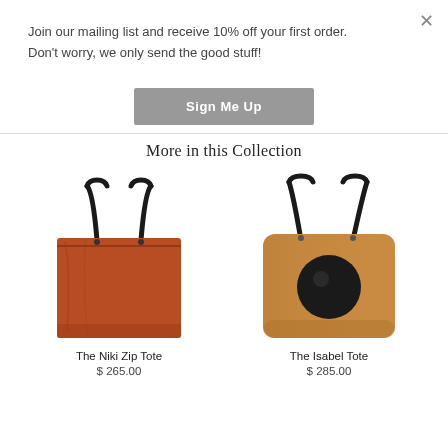Join our mailing list and receive 10% off your first order. Don't worry, we only send the good stuff!
[Figure (other): Sign Me Up button - grey rounded rectangle with white bold text]
More in this Collection
[Figure (photo): The Niki Zip Tote - brown/rust leather tote bag with black handles]
The Niki Zip Tote
$ 265.00
[Figure (photo): The Isabel Tote - tan/caramel leather tote bag with black circular detail and black handles]
The Isabel Tote
$ 285.00